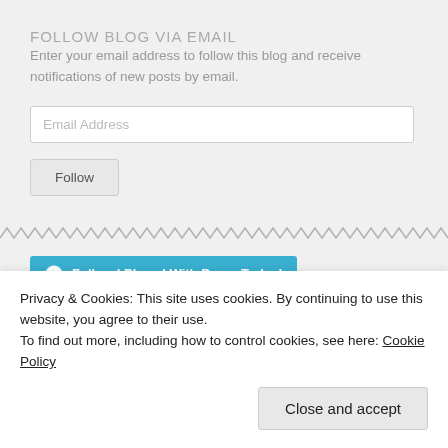FOLLOW BLOG VIA EMAIL
Enter your email address to follow this blog and receive notifications of new posts by email.
Email Address
Follow
[Figure (other): Zigzag/wavy decorative divider line]
Follow I Played With Paper Today!
Privacy & Cookies: This site uses cookies. By continuing to use this website, you agree to their use.
To find out more, including how to control cookies, see here: Cookie Policy
Close and accept